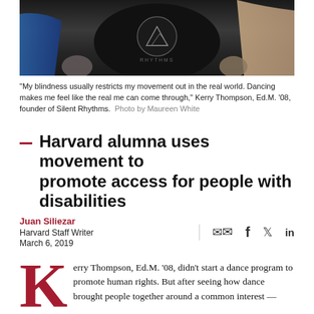[Figure (photo): Close-up photo of people dancing; a person wearing a black 'Silent Rhythms' t-shirt is visible in the center.]
"My blindness usually restricts my movement out in the real world. Dancing makes me feel like the real me can come through," Kerry Thompson, Ed.M. '08, founder of Silent Rhythms.  Photo by Maureen White
Harvard alumna uses movement to promote access for people with disabilities
Juan Siliezar
Harvard Staff Writer
March 6, 2019
Kerry Thompson, Ed.M. '08, didn't start a dance program to promote human rights. But after seeing how dance brought people together around a common interest —